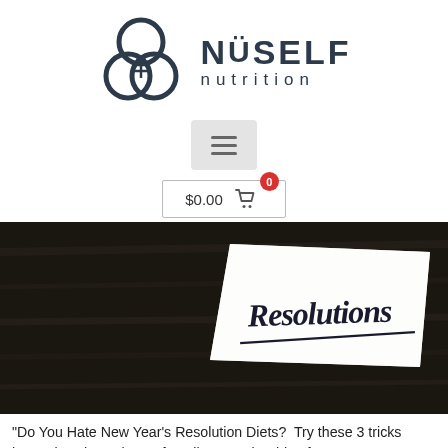[Figure (logo): NüSelf Nutrition logo with three overlapping circles emblem and text 'NÜSELF NUTRITION']
[Figure (other): Hamburger menu button (three horizontal lines) with grey background]
[Figure (other): Shopping cart icon with $0.00 price and red badge showing 0]
[Figure (photo): Dark wood background with a torn piece of paper showing cursive handwritten text 'Resolutions']
“Do You Hate New Year’s Resolution Diets?  Try these 3 tricks instead!” What’s the perfect diet? Another blog for New Year’s